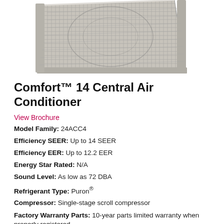[Figure (photo): Top portion of a Carrier Comfort 14 central air conditioner outdoor unit, showing the metal fan grille and housing.]
Comfort™ 14 Central Air Conditioner
View Brochure
Model Family: 24ACC4
Efficiency SEER: Up to 14 SEER
Efficiency EER: Up to 12.2 EER
Energy Star Rated: N/A
Sound Level: As low as 72 DBA
Refrigerant Type: Puron®
Compressor: Single-stage scroll compressor
Factory Warranty Parts: 10-year parts limited warranty when properly registered.